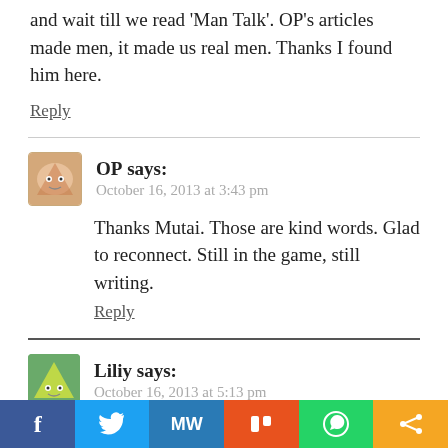and wait till we read 'Man Talk'. OP's articles made men, it made us real men. Thanks I found him here.
Reply
OP says:
October 16, 2013 at 3:43 pm
Thanks Mutai. Those are kind words. Glad to reconnect. Still in the game, still writing.
Reply
Liliy says:
October 16, 2013 at 5:13 pm
[Figure (infographic): Social sharing bar with Facebook, Twitter, MW, Mix, WhatsApp, and share buttons]